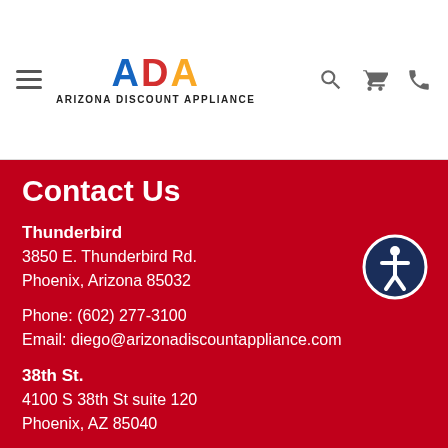ADA ARIZONA DISCOUNT APPLIANCE
Contact Us
Thunderbird
3850 E. Thunderbird Rd.
Phoenix, Arizona 85032
Phone: (602) 277-3100
Email: diego@arizonadiscountappliance.com
38th St.
4100 S 38th St suite 120
Phoenix, AZ 85040
Phone: (602) 277-3100 (Press 2)
Email: diego@arizonadiscountappliance.com